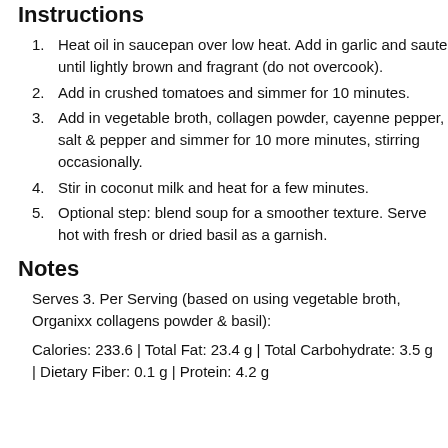Instructions
Heat oil in saucepan over low heat. Add in garlic and saute until lightly brown and fragrant (do not overcook).
Add in crushed tomatoes and simmer for 10 minutes.
Add in vegetable broth, collagen powder, cayenne pepper, salt & pepper and simmer for 10 more minutes, stirring occasionally.
Stir in coconut milk and heat for a few minutes.
Optional step: blend soup for a smoother texture. Serve hot with fresh or dried basil as a garnish.
Notes
Serves 3. Per Serving (based on using vegetable broth, Organixx collagens powder & basil):
Calories: 233.6 | Total Fat: 23.4 g | Total Carbohydrate: 3.5 g | Dietary Fiber: 0.1 g | Protein: 4.2 g